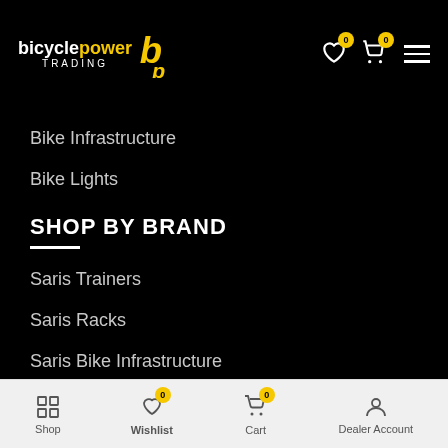[Figure (logo): Bicycle Power Trading logo with stylized yellow 'b p' icon and white/yellow text]
Bike Infrastructure
Bike Lights
SHOP BY BRAND
Saris Trainers
Saris Racks
Saris Bike Infrastructure
Power2Max
Favero
Concept Speed
Peruzzo Bike Racks
Shop | Wishlist (0) | Cart (0) | Dealer Account